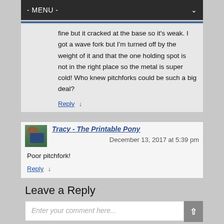- MENU -
fine but it cracked at the base so it's weak. I got a wave fork but I'm turned off by the weight of it and that the one holding spot is not in the right place so the metal is super cold! Who knew pitchforks could be such a big deal?
Reply ↓
Tracy - The Printable Pony
December 13, 2017 at 5:39 pm
Poor pitchfork!
Reply ↓
Leave a Reply
Enter your comment here...